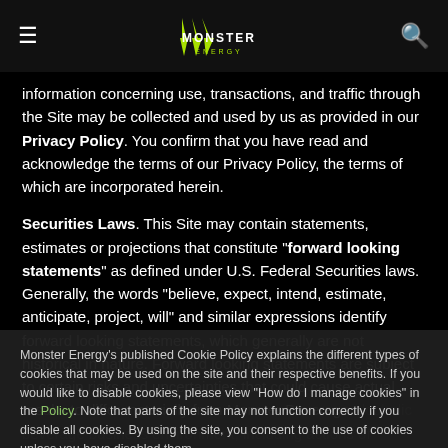Monster Energy navigation bar with hamburger menu, Monster Energy logo, and search icon
information concerning use, transactions, and traffic through the Site may be collected and used by us as provided in our Privacy Policy. You confirm that you have read and acknowledge the terms of our Privacy Policy, the terms of which are incorporated herein.
Securities Laws. This Site may contain statements, estimates or projections that constitute "forward looking statements" as defined under U.S. Federal Securities laws. Generally, the words "believe, expect, intend, estimate, anticipate, project, will" and similar expressions identify forward looking statements, which generally are not historical in nature. Forward looking statements are subject to certain risks and uncertainties that could cause actual results to differ materially from Monster Beverage alcoholic beverage business environment, including actions of competitors and changes in consumer preferences; regulatory and legal changes; interest rate fluctuations; changes in economic and political conditions; ability to penetrate and develop new markets; the effectiveness of MBC's advertising,
Monster Energy's published Cookie Policy explains the different types of cookies that may be used on the site and their respective benefits. If you would like to disable cookies, please view "How do I manage cookies" in the Policy. Note that parts of the site may not function correctly if you disable all cookies. By using the site, you consent to the use of cookies unless you have disabled them.